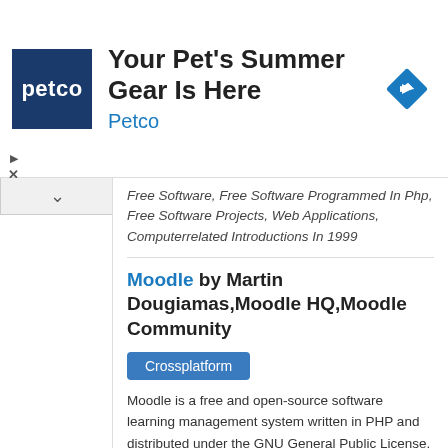[Figure (logo): Petco advertisement banner with logo, headline 'Your Pet's Summer Gear Is Here', Petco brand name, and navigation/direction icon]
Free Software, Free Software Programmed In Php, Free Software Projects, Web Applications, Computerrelated Introductions In 1999
Moodle by Martin Dougiamas,Moodle HQ,Moodle Community
Crossplatform
Moodle is a free and open-source software learning management system written in PHP and distributed under the GNU General Public License. Developed on pedagogical principles, Moodle is used for...
Latest version of Moodle is 3.3.0 and it was released on 2017-05-15.